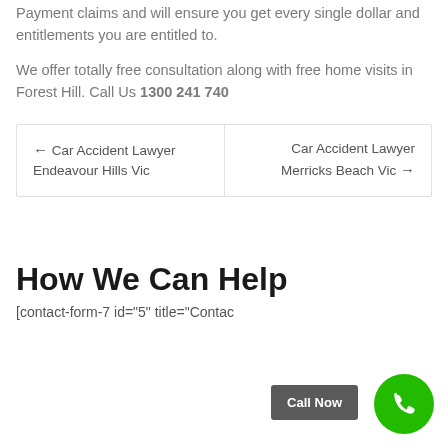Payment claims and will ensure you get every single dollar and entitlements you are entitled to.
We offer totally free consultation along with free home visits in Forest Hill. Call Us 1300 241 740
← Car Accident Lawyer Endeavour Hills Vic
Car Accident Lawyer Merricks Beach Vic →
How We Can Help
[contact-form-7 id="5" title="Contac